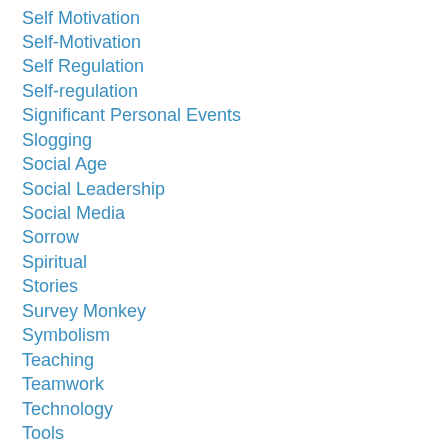Self Motivation
Self-Motivation
Self Regulation
Self-regulation
Significant Personal Events
Slogging
Social Age
Social Leadership
Social Media
Sorrow
Spiritual
Stories
Survey Monkey
Symbolism
Teaching
Teamwork
Technology
Tools
Tradition
Trajectories
Twitter